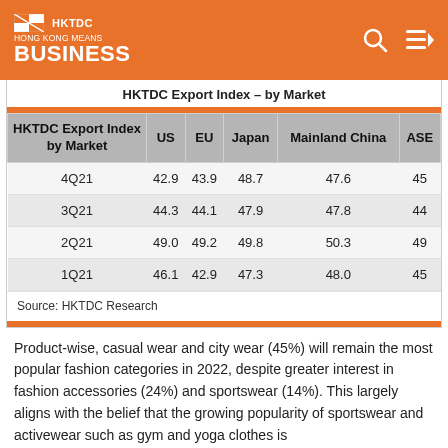HKTDC HONG KONG MEANS BUSINESS
HKTDC Export Index – by Market
| HKTDC Export Index by Market | US | EU | Japan | Mainland China | ASE |
| --- | --- | --- | --- | --- | --- |
| 4Q21 | 42.9 | 43.9 | 48.7 | 47.6 | 45 |
| 3Q21 | 44.3 | 44.1 | 47.9 | 47.8 | 44 |
| 2Q21 | 49.0 | 49.2 | 49.8 | 50.3 | 49 |
| 1Q21 | 46.1 | 42.9 | 47.3 | 48.0 | 45 |
Source: HKTDC Research
Product-wise, casual wear and city wear (45%) will remain the most popular fashion categories in 2022, despite greater interest in fashion accessories (24%) and sportswear (14%). This largely aligns with the belief that the growing popularity of sportswear and activewear such as gym and yoga clothes is